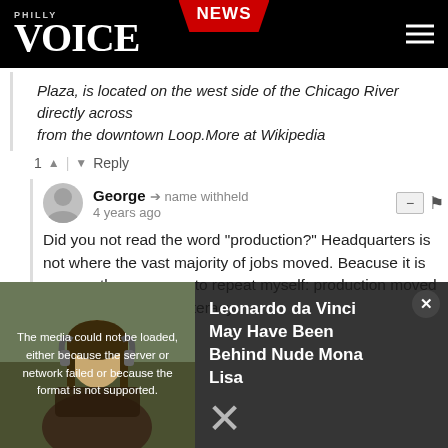PHILLY VOICE | NEWS
Plaza, is located on the west side of the Chicago River directly across from the downtown Loop.More at Wikipedia
1 ↑ | ↓ Reply
George → name withheld
4 years ago
Did you not read the word "production?" Headquarters is not where the vast majority of jobs moved. Beacuse it is apparently necessary to repeat myself: production moved to SC. Via: common literacy.
[Figure (screenshot): Media player overlay showing error message: 'The media could not be loaded, either because the server or network failed or because the format is not supported.' with Mona Lisa image on left and article title 'Leonardo da Vinci May Have Been Behind Nude Mona Lisa' on right, with X close button]
BarleyEducated → Guest
4 years ago